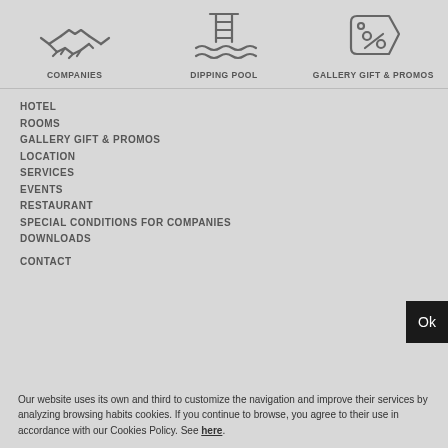[Figure (illustration): Three icons in a row: handshake icon labeled COMPANIES, swimming pool with water waves labeled DIPPING POOL, and a price tag with percent sign labeled GALLERY GIFT & PROMOS]
HOTEL
ROOMS
GALLERY GIFT & PROMOS
LOCATION
SERVICES
EVENTS
RESTAURANT
SPECIAL CONDITIONS FOR COMPANIES
DOWNLOADS
CONTACT
Our website uses its own and third to customize the navigation and improve their services by analyzing browsing habits cookies. If you continue to browse, you agree to their use in accordance with our Cookies Policy. See here.